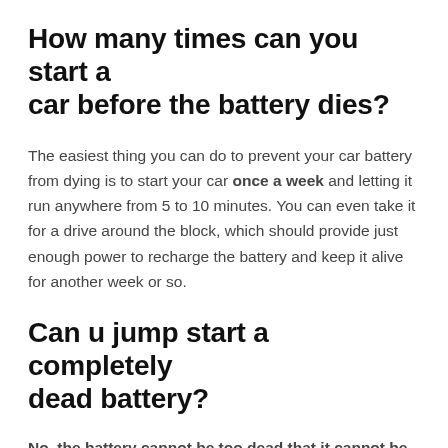How many times can you start a car before the battery dies?
The easiest thing you can do to prevent your car battery from dying is to start your car once a week and letting it run anywhere from 5 to 10 minutes. You can even take it for a drive around the block, which should provide just enough power to recharge the battery and keep it alive for another week or so.
Can u jump start a completely dead battery?
No, the battery cannot be too dead that it cannot be jump started. First of all, this is a chemical element. So, naturally, it